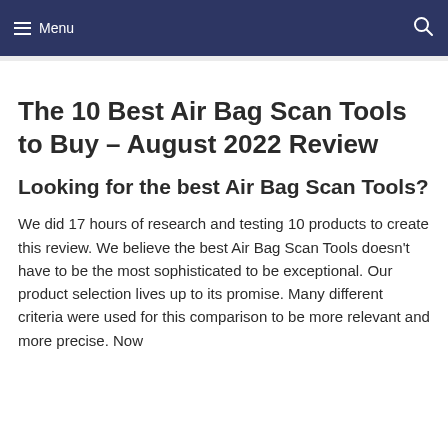Menu
The 10 Best Air Bag Scan Tools to Buy – August 2022 Review
Looking for the best Air Bag Scan Tools?
We did 17 hours of research and testing 10 products to create this review. We believe the best Air Bag Scan Tools doesn't have to be the most sophisticated to be exceptional. Our product selection lives up to its promise. Many different criteria were used for this comparison to be more relevant and more precise. Now